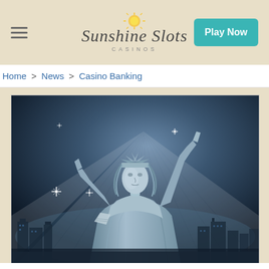Sunshine Slots Casinos — Play Now
Home > News > Casino Banking
[Figure (photo): Stylized illustration of the Statue of Liberty in blue-grey tones against a dramatic dark sky with radiating light rays and city skyline in the background. Stars/sparkles visible in the scene.]